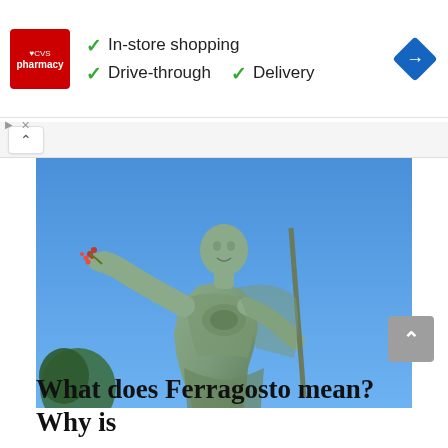[Figure (other): CVS Pharmacy advertisement banner showing CVS logo with checkmarks for In-store shopping, Drive-through, and Delivery, with a blue navigation diamond icon on the right]
[Figure (photo): Photograph of a Roman emperor statue (Augustus Prima Porta style) with arm outstretched holding a red flower/branch, against a blue sky background with green trees visible at lower left]
What does Ferragosto mean? Why is